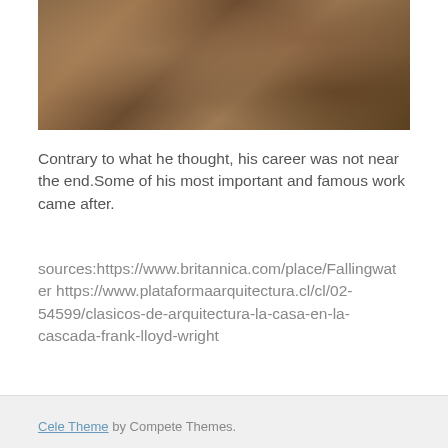[Figure (photo): Interior photograph of a room with stone flooring, wooden furniture, and natural stone walls — appears to be Fallingwater or similar Frank Lloyd Wright interior]
Contrary to what he thought, his career was not near the end.Some of his most important and famous work came after.
sources:https://www.britannica.com/place/Fallingwater https://www.plataformaarquitectura.cl/cl/02-54599/clasicos-de-arquitectura-la-casa-en-la-cascada-frank-lloyd-wright
Cele Theme by Compete Themes.